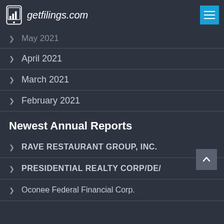getfilings.com
May 2021
April 2021
March 2021
February 2021
Newest Annual Reports
RAVE RESTAURANT GROUP, INC.
PRESIDENTIAL REALTY CORP/DE/
Oconee Federal Financial Corp.